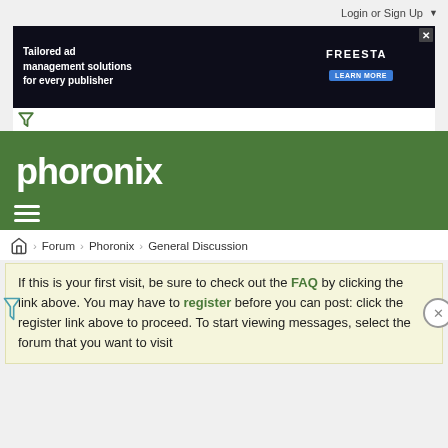Login or Sign Up ▼
[Figure (screenshot): Advertisement banner: 'Tailored ad management solutions for every publisher' with Freesta branding and Learn More button on dark background]
[Figure (logo): Phoronix logo in white on green background header]
Forum › Phoronix › General Discussion
If this is your first visit, be sure to check out the FAQ by clicking the link above. You may have to register before you can post: click the register link above to proceed. To start viewing messages, select the forum that you want to visit